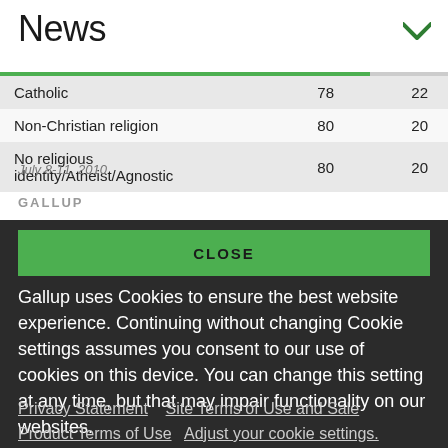News
| Catholic | 78 | 22 |
| Non-Christian religion | 80 | 20 |
| No religious identity/Atheist/Agnostic | 80 | 20 |
July 8-11, 2010
GALLUP
CLOSE
Gallup uses Cookies to ensure the best website experience. Continuing without changing Cookie settings assumes you consent to our use of cookies on this device. You can change this setting at any time, but that may impair functionality on our websites.
Privacy Statement   Site Terms of Use and Sale
Product Terms of Use   Adjust your cookie settings.